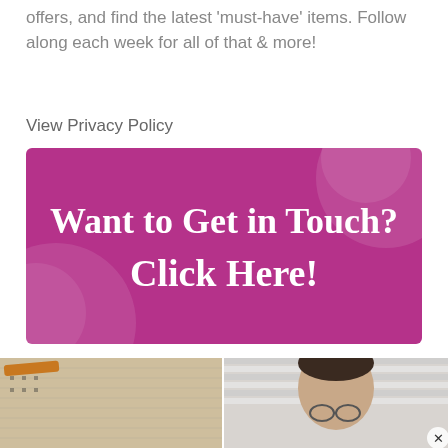offers, and find the latest 'must-have' items. Follow along each week for all of that & more!
View Privacy Policy
[Figure (infographic): Purple/magenta banner with decorative blobs and white bold serif text reading 'Want to Get in Touch? Click Here!']
[Figure (photo): Two photos side by side: left shows a houndstooth patterned bag with orange strap, right shows a person with dark hair and glasses against window blinds background. Below each photo is a partial second row of the same images.]